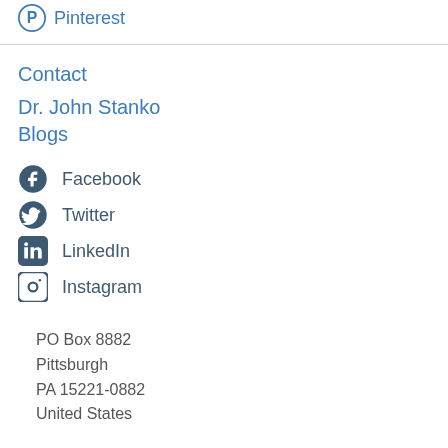Pinterest
Contact
Dr. John Stanko
Blogs
Facebook
Twitter
LinkedIn
Instagram
PO Box 8882
Pittsburgh
PA 15221-0882
United States